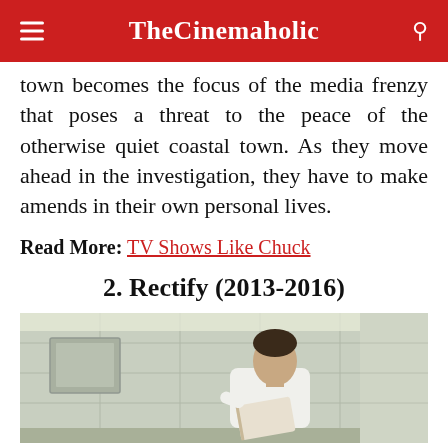TheCinemaholic
town becomes the focus of the media frenzy that poses a threat to the peace of the otherwise quiet coastal town. As they move ahead in the investigation, they have to make amends in their own personal lives.
Read More: TV Shows Like Chuck
2. Rectify (2013-2016)
[Figure (photo): A man in a white shirt sitting against a tiled wall reading a book, appearing to be in a prison or institutional setting.]